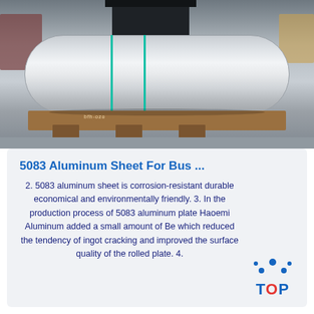[Figure (photo): Industrial photo of aluminum rolls/coils on a wooden pallet on a factory floor, with a large pressing/rolling machine in the background. Green straps visible on the rolls.]
5083 Aluminum Sheet For Bus ...
2. 5083 aluminum sheet is corrosion-resistant durable economical and environmentally friendly. 3. In the production process of 5083 aluminum plate Haoemi Aluminum added a small amount of Be which reduced the tendency of ingot cracking and improved the surface quality of the rolled plate. 4.
[Figure (logo): TOP logo with blue dots arranged in a triangle/arc above the text 'TOP' in blue with red 'O']